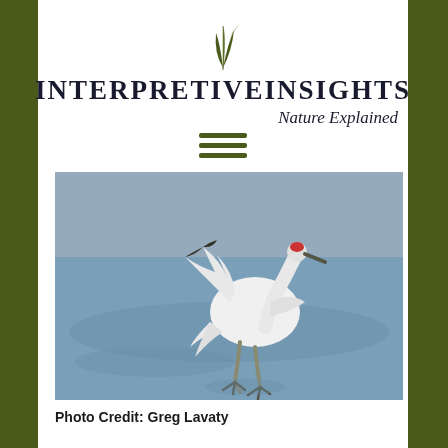[Figure (logo): Interpretive Insights - Nature Explained logo with green plant/grass graphic above bold uppercase text and italic subtitle]
[Figure (other): Three horizontal dark olive/green lines forming a hamburger menu icon]
[Figure (photo): A large white whooping crane with wings spread, wading in shallow blue water, with reddish head markings, long black legs and beak]
Photo Credit: Greg Lavaty